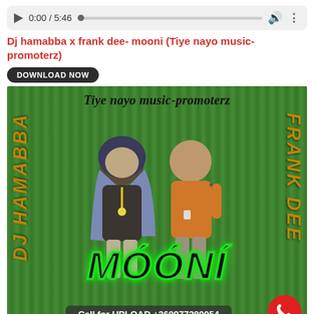[Figure (screenshot): Audio player bar showing play button, time 0:00 / 5:46, progress track, volume icon, and more options icon]
Dj hamabba x frank dee- mooni (Tiye nayo music-promoterz)
DOWNLOAD NOW
[Figure (photo): Album art for 'Mooni' by DJ Hamabba x Frank Dee on Tiye nayo music-promoterz label. Green curtained background with two people standing. Text: Tiye nayo music-promoterz, DJ HAMABBA (vertical left), FRANK DEE (vertical right), MÓÓNÍ in large green-outlined black text, Call for UPLOAD +260977280054, red phone button.]